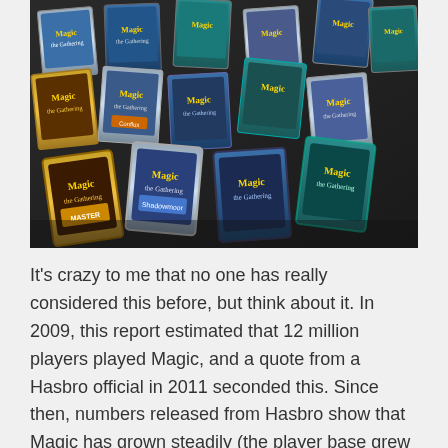[Figure (photo): A large collection of Magic: The Gathering card booster packs spread out on a dark table, photographed from an angle showing rows of foil packs with game artwork visible on their fronts.]
It's crazy to me that no one has really considered this before, but think about it. In 2009, this report estimated that 12 million players played Magic, and a quote from a Hasbro official in 2011 seconded this. Since then, numbers released from Hasbro show that Magic has grown steadily (the player base grew 29% [...]